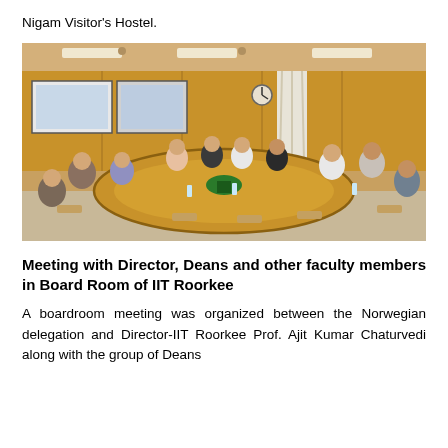Nigam Visitor's Hostel.
[Figure (photo): A boardroom meeting scene with people seated around a large oval wooden table in a wood-paneled room. There are two display screens on the left wall, a clock, curtains, and a plant centerpiece on the table.]
Meeting with Director, Deans and other faculty members in Board Room of IIT Roorkee
A boardroom meeting was organized between the Norwegian delegation and Director-IIT Roorkee Prof. Ajit Kumar Chaturvedi along with the group of Deans